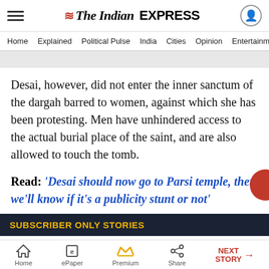The Indian EXPRESS
Home  Explained  Political Pulse  India  Cities  Opinion  Entertainment
Desai, however, did not enter the inner sanctum of the dargah barred to women, against which she has been protesting. Men have unhindered access to the actual burial place of the saint, and are also allowed to touch the tomb.
Read: 'Desai should now go to Parsi temple, then we'll know if it's a publicity stunt or not'
SUBSCRIBER ONLY STORIES
Home  ePaper  Premium  Share  NEXT STORY